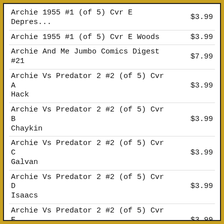| Title | Price |
| --- | --- |
| Archie 1955 #1 (of 5) Cvr E Woods | $3.99 |
| Archie And Me Jumbo Comics Digest #21 | $7.99 |
| Archie Vs Predator 2 #2 (of 5) Cvr A Hack | $3.99 |
| Archie Vs Predator 2 #2 (of 5) Cvr B Chaykin | $3.99 |
| Archie Vs Predator 2 #2 (of 5) Cvr C Galvan | $3.99 |
| Archie Vs Predator 2 #2 (of 5) Cvr D Isaacs | $3.99 |
| Archie Vs Predator 2 #2 (of 5) Cvr E Smallwood | $3.99 |
| Archie Vs Predator 2 #2 (of 5) Cvr F Walsh | $3.99 |
| As Miss Beelzebub Likes Gn Vol 07 | $13.00 |